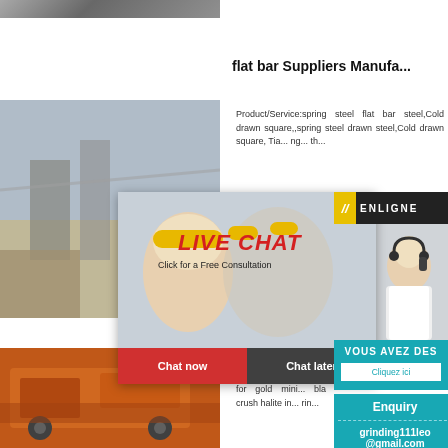[Figure (photo): Partial top photo strip showing a construction/industrial site]
flat bar Suppliers Manufa...
[Figure (photo): Industrial facility with workers in yellow hard hats at a construction site]
Product/Service:spring steel flat bar steel,Cold drawn square,,spring steel drawn steel,Cold drawn square, Tia... ng... th...
[Figure (screenshot): Live chat popup overlay with LIVE CHAT title, Click for a Free Consultation, Chat now and Chat later buttons, and a customer service photo]
[Figure (screenshot): ENLIGNE online chat widget bar]
[Figure (screenshot): VOUS AVEZ DES panel with Cliquez ici button]
[Figure (screenshot): Enquiry panel with grinding111leo@gmail.com]
complete...ess...
daqiang 55cr... ar m jaws for vr 500... rat for gold mini... bla crush halite in... rin...
[Figure (photo): Orange heavy mining/crushing machinery equipment]